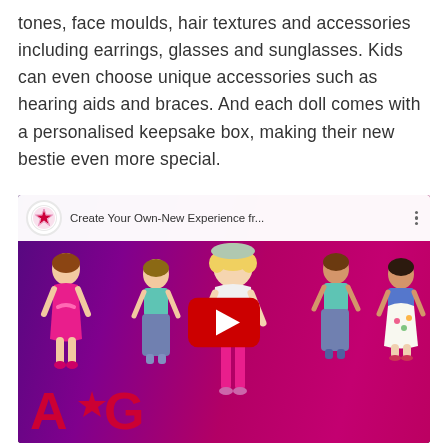tones, face moulds, hair textures and accessories including earrings, glasses and sunglasses. Kids can even choose unique accessories such as hearing aids and braces. And each doll comes with a personalised keepsake box, making their new bestie even more special.
[Figure (screenshot): YouTube video thumbnail showing 'Create Your Own-New Experience fr...' with American Girl dolls on a pink/purple background and the American Girl (A★G) logo at bottom left. A red YouTube play button is displayed in the center.]